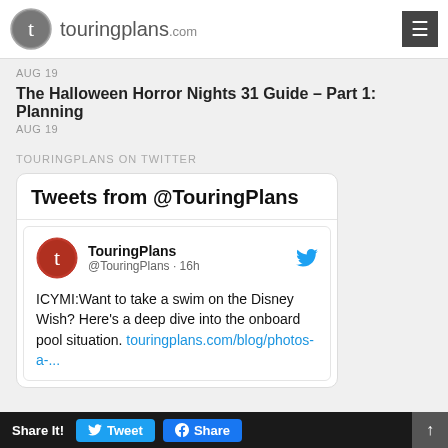touringplans.com
AUG 19
The Halloween Horror Nights 31 Guide – Part 1: Planning
AUG 19
TOURINGPLANS ON TWITTER
[Figure (screenshot): Twitter widget showing Tweets from @TouringPlans. Tweet by TouringPlans @TouringPlans 16h: ICYMI:Want to take a swim on the Disney Wish? Here's a deep dive into the onboard pool situation. touringplans.com/blog/photos-a-...]
Share It! Tweet Share